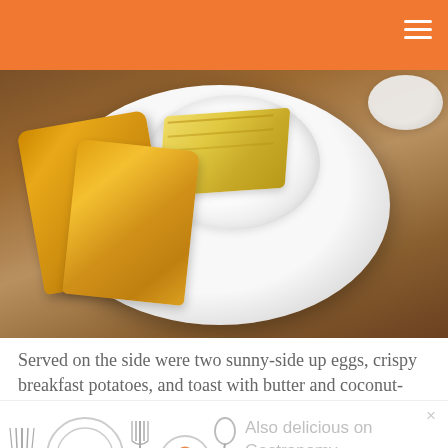[Figure (photo): A plate with toast and a small bowl of butter/yellow spread on a wooden table surface, photographed from above.]
Served on the side were two sunny-side up eggs, crispy breakfast potatoes, and toast with butter and coconut-
[Figure (illustration): Gastronomy blog promotional banner with kitchen utensil illustrations and text 'Also delicious on Gastronomy...']
[Figure (logo): Gastronomy blog logo with decorative text 'Gastronomy' and 'BY CATHY CHAPLIN' tagline]
Suon Nuong Recipe - Vietna...
gastronomyblog.com
AddThis